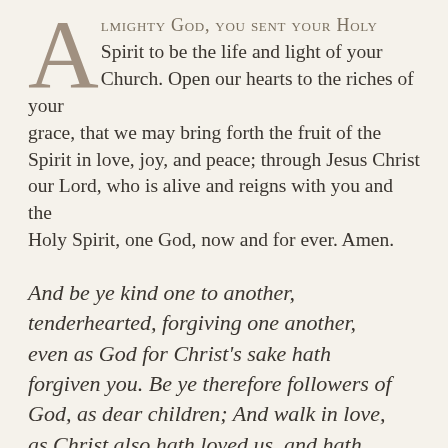Almighty God, you sent your Holy Spirit to be the life and light of your Church. Open our hearts to the riches of your grace, that we may bring forth the fruit of the Spirit in love, joy, and peace; through Jesus Christ our Lord, who is alive and reigns with you and the Holy Spirit, one God, now and for ever. Amen.
And be ye kind one to another, tenderhearted, forgiving one another, even as God for Christ's sake hath forgiven you. Be ye therefore followers of God, as dear children; And walk in love, as Christ also hath loved us, and hath